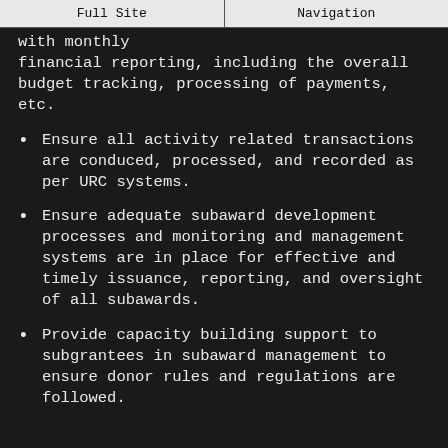Full Site | Navigation
with monthly financial reporting, including the overall budget tracking, processing of payments, etc.
Ensure all activity related transactions are conduced, processed, and recorded as per URC systems.
Ensure adequate subaward development processes and monitoring and management systems are in place for effective and timely issuance, reporting, and oversight of all subawards.
Provide capacity building support to subgrantees in subaward management to ensure donor rules and regulations are followed.